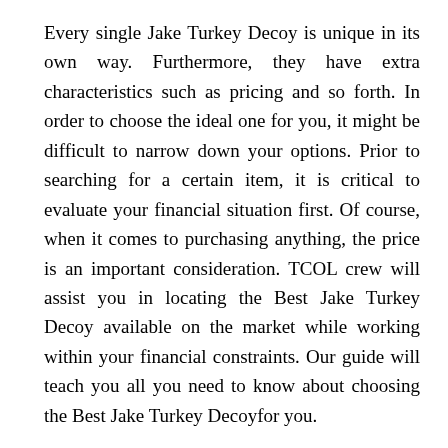Every single Jake Turkey Decoy is unique in its own way. Furthermore, they have extra characteristics such as pricing and so forth. In order to choose the ideal one for you, it might be difficult to narrow down your options. Prior to searching for a certain item, it is critical to evaluate your financial situation first. Of course, when it comes to purchasing anything, the price is an important consideration. TCOL crew will assist you in locating the Best Jake Turkey Decoy available on the market while working within your financial constraints. Our guide will teach you all you need to know about choosing the Best Jake Turkey Decoyfor you.
Quick Answer: Our Pick on the  Best